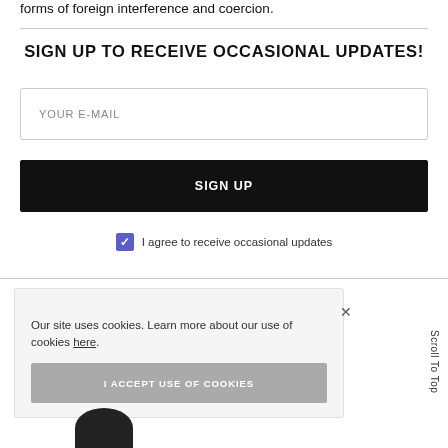forms of foreign interference and coercion.
SIGN UP TO RECEIVE OCCASIONAL UPDATES!
YOUR E-MAIL
SIGN UP
I agree to receive occasional updates
Our site uses cookies. Learn more about our use of cookies here.
I ACCEPT USE OF COOKIES
Scroll To Top